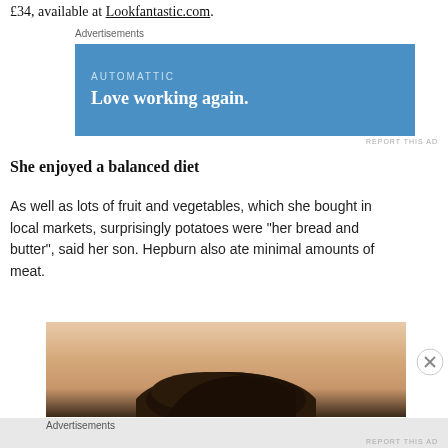£34, available at Lookfantastic.com.
[Figure (other): Advertisement banner for Automattic with blue background, showing brand name 'AUTOMATTIC' and tagline 'Love working again.']
She enjoyed a balanced diet
As well as lots of fruit and vegetables, which she bought in local markets, surprisingly potatoes were “her bread and butter”, said her son. Hepburn also ate minimal amounts of meat.
[Figure (photo): Photo showing the top of a person's head with dark hair against a peach/tan background]
Advertisements